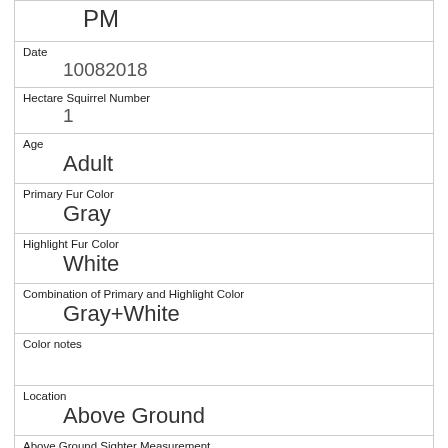PM
Date
10082018
Hectare Squirrel Number
1
Age
Adult
Primary Fur Color
Gray
Highlight Fur Color
White
Combination of Primary and Highlight Color
Gray+White
Color notes
Location
Above Ground
Above Ground Sighter Measurement
15
Specific Location